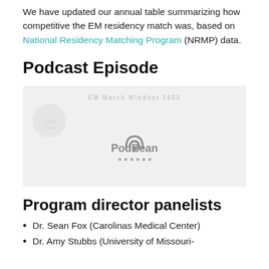We have updated our annual table summarizing how competitive the EM residency match was, based on National Residency Matching Program (NRMP) data.
Podcast Episode
[Figure (other): PodBean podcast player embed for EM Match Mindset 2022 episode, showing PodBean logo with wifi-arc icon on a light gray background]
Program director panelists
Dr. Sean Fox (Carolinas Medical Center)
Dr. Amy Stubbs (University of Missouri-